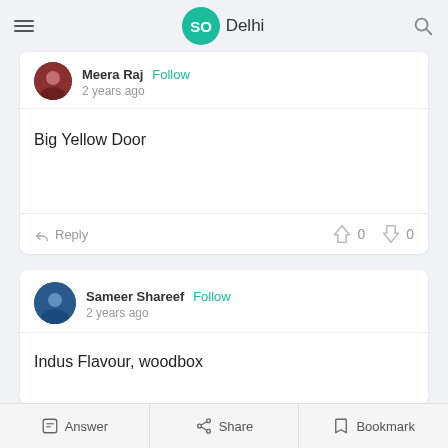SO Delhi
Meera Raj  Follow
2 years ago
Big Yellow Door
Reply  0  0
Sameer Shareef  Follow
2 years ago
Indus Flavour, woodbox
Answer  Share  Bookmark